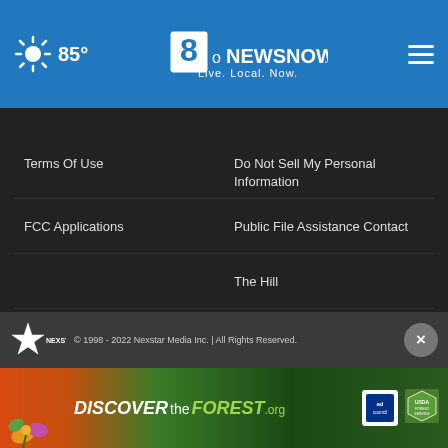85° | 8NewsNow.com Live. Local. Now.
Terms Of Use
Do Not Sell My Personal Information
FCC Applications
Public File Assistance Contact
The Hill
NewsNation
BestReviews
Content Licensing
Nexstar Digital
© 1998 - 2022 Nexstar Media Inc. | All Rights Reserved.
[Figure (screenshot): Discover the Forest advertisement banner with forest imagery, ad council and USDA Forest Service logos]